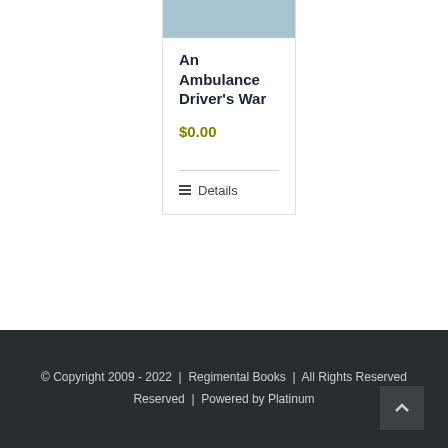[Figure (photo): Book cover image with light blue/steel blue color]
An Ambulance Driver's War
$0.00
Details
© Copyright 2009 - 2022  |  Regimental Books  |  All Rights Reserved  |  Powered by Platinum